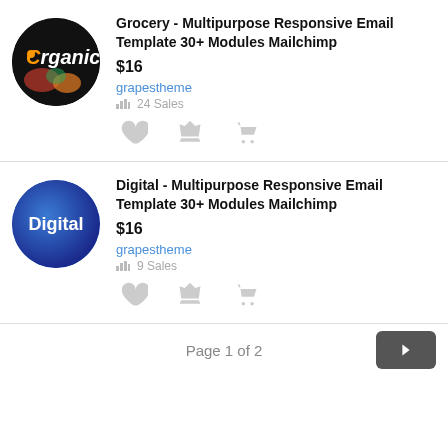[Figure (logo): Organic grocery logo - dark circular badge with 'Organic' text and vegetable imagery]
Grocery - Multipurpose Responsive Email Template 30+ Modules Mailchimp
$16
grapestheme
24 Sales
[Figure (logo): Digital logo - dark blue circular badge with 'Digital' white text]
Digital - Multipurpose Responsive Email Template 30+ Modules Mailchimp
$16
grapestheme
9 Sales
Page 1 of 2